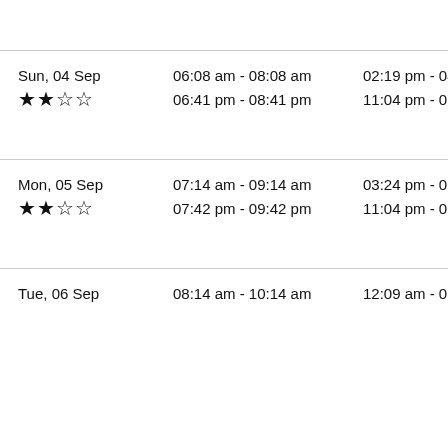| Date | Time Slot 1 | Time Slot 2 |
| --- | --- | --- |
| Sun, 04 Sep ★★☆☆ | 06:08 am - 08:08 am
06:41 pm - 08:41 pm | 02:19 pm - 04:19 pm
11:04 pm - 01:04 am |
| Mon, 05 Sep ★★☆☆ | 07:14 am - 09:14 am
07:42 pm - 09:42 pm | 03:24 pm - 05:24 pm
11:04 pm - 01:04 am |
| Tue, 06 Sep | 08:14 am - 10:14 am | 12:09 am - 02:09 |